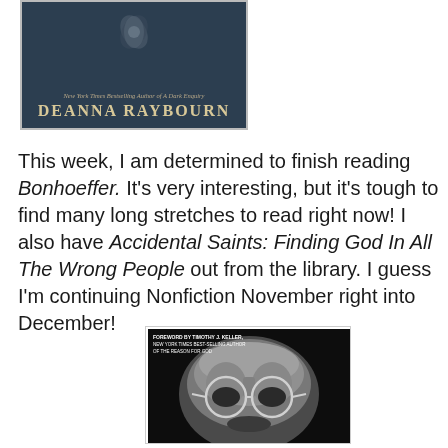[Figure (photo): Book cover showing Deanna Raybourn as author, with text 'New York Times Bestselling Author of A Dark Enquiry' and author name in large serif font on dark moody background]
This week, I am determined to finish reading Bonhoeffer. It's very interesting, but it's tough to find many long stretches to read right now! I also have Accidental Saints: Finding God In All The Wrong People out from the library. I guess I'm continuing Nonfiction November right into December!
[Figure (photo): Book cover of Bonhoeffer showing black and white close-up portrait of a man with round glasses, with text 'Foreword by Timothy J. Keller, New York Times Best-Selling Author of The Reason for God']